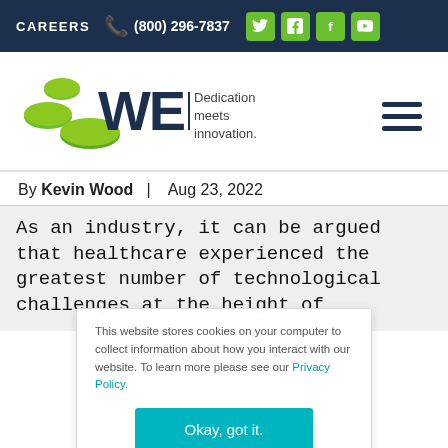CAREERS | (800) 296-7837 | Social icons: Twitter, LinkedIn, Facebook, YouTube
[Figure (logo): WEI logo with green disc shapes and tagline 'Dedication meets innovation.']
By Kevin Wood | Aug 23, 2022
As an industry, it can be argued that healthcare experienced the greatest number of technological challenges at the height of
This website stores cookies on your computer to collect information about how you interact with our website. To learn more please see our Privacy Policy.
Okay, got it.